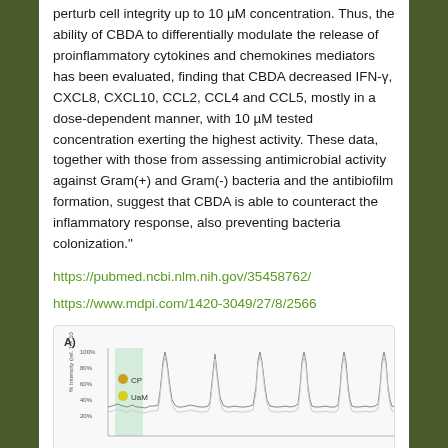perturb cell integrity up to 10 µM concentration. Thus, the ability of CBDA to differentially modulate the release of proinflammatory cytokines and chemokines mediators has been evaluated, finding that CBDA decreased IFN-γ, CXCL8, CXCL10, CCL2, CCL4 and CCL5, mostly in a dose-dependent manner, with 10 µM tested concentration exerting the highest activity. These data, together with those from assessing antimicrobial activity against Gram(+) and Gram(-) bacteria and the antibiofilm formation, suggest that CBDA is able to counteract the inflammatory response, also preventing bacteria colonization."
https://pubmed.ncbi.nlm.nih.gov/35458762/
https://www.mdpi.com/1420-3049/27/8/2566
[Figure (continuous-plot): Panel A) showing line chart with % intensity (y-axis, 0-100%) vs time/scan axis. Two series labeled CP (gold circle) and UaM (yellow circle). Multiple sharp peaks visible across the x-axis range. A highlighted/shaded region near the left portion of the chart.]